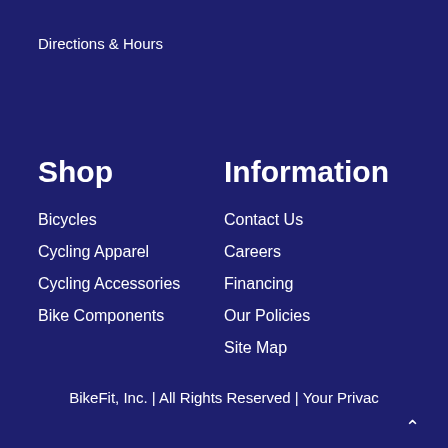Directions & Hours
Shop
Bicycles
Cycling Apparel
Cycling Accessories
Bike Components
Information
Contact Us
Careers
Financing
Our Policies
Site Map
BikeFit, Inc. | All Rights Reserved | Your Privac